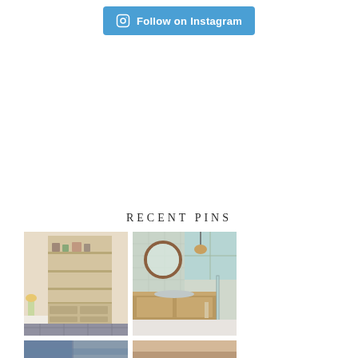[Figure (other): Follow on Instagram button with Instagram icon, blue rounded rectangle button]
RECENT PINS
[Figure (photo): Kitchen pantry with open shelving displaying organized items, wooden drawers, and kitchen counter with flowers]
[Figure (photo): Modern bathroom with round mirror, wood vanity, tiled shower with glass panel and window]
[Figure (photo): Partial view of another pinned image, bottom strip]
[Figure (photo): Partial view of another pinned image, bottom strip]